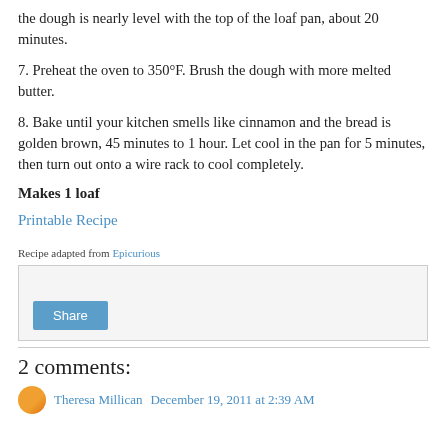the dough is nearly level with the top of the loaf pan, about 20 minutes.
7. Preheat the oven to 350°F. Brush the dough with more melted butter.
8. Bake until your kitchen smells like cinnamon and the bread is golden brown, 45 minutes to 1 hour. Let cool in the pan for 5 minutes, then turn out onto a wire rack to cool completely.
Makes 1 loaf
Printable Recipe
Recipe adapted from Epicurious
[Figure (other): Share button widget box with Share button]
2 comments:
Theresa Millican December 19, 2011 at 2:39 AM